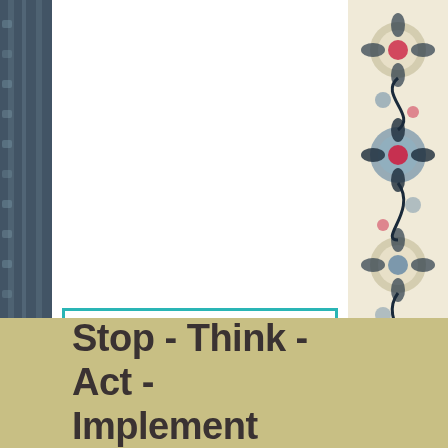[Figure (illustration): Left decorative fabric/textile border strip with dark blue/teal ikat-style pattern]
[Figure (illustration): Right decorative fabric/textile border with colorful ikat pattern featuring cream, red, blue, and black floral/medallion motifs]
Every day we get letters from prisoners. We advocate for their human rights, provide information and address their grievances.  If you'd like to help, let us know!  Contact justicebburg@gmail.com
Stop - Think - Act - Implement